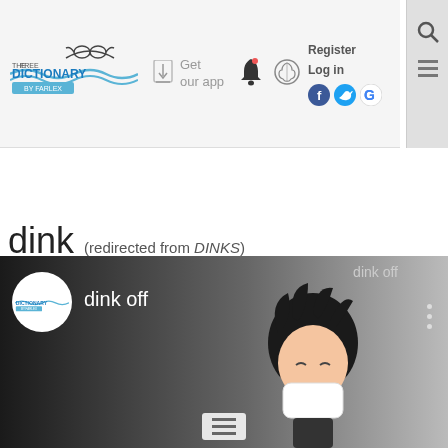THE FREE DICTIONARY BY FARLEX — Get our app — Register Log in
dink (redirected from DINKS)
Also found in: Dictionary, Thesaurus, Medical, Financial, Acronyms, Encyclopedia.
Related to DINKS: Double Income No Kids, DEWKS
[Figure (screenshot): Video banner showing 'dink off' with animated character and The Free Dictionary logo]